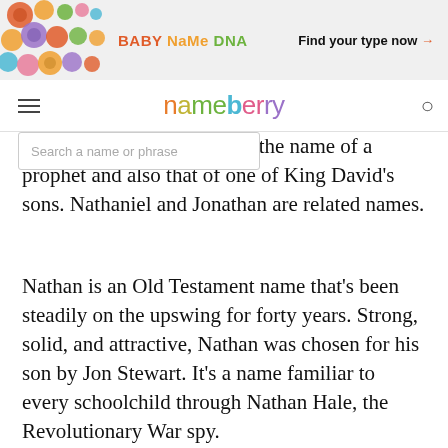[Figure (illustration): Nameberry Baby Name DNA advertisement banner with colorful circle pattern on left side]
nameberry
Old Testament, Nathan was the name of a prophet and also that of one of King David's sons. Nathaniel and Jonathan are related names.
Nathan is an Old Testament name that's been steadily on the upswing for forty years. Strong, solid, and attractive, Nathan was chosen for his son by Jon Stewart. It's a name familiar to every schoolchild through Nathan Hale, the Revolutionary War spy.